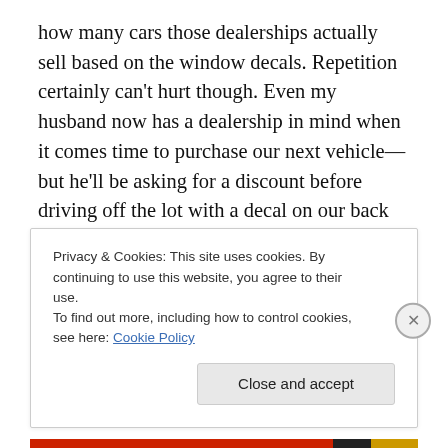how many cars those dealerships actually sell based on the window decals. Repetition certainly can't hurt though. Even my husband now has a dealership in mind when it comes time to purchase our next vehicle—but he'll be asking for a discount before driving off the lot with a decal on our back window.
Privacy & Cookies: This site uses cookies. By continuing to use this website, you agree to their use.
To find out more, including how to control cookies, see here: Cookie Policy